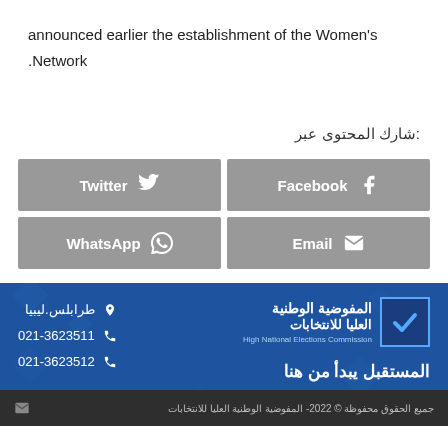announced earlier the establishment of the Women's .Network
شارك المحتوى عبر:
[Figure (other): Social sharing buttons: Twitter, Facebook, WhatsApp, Email]
طرابلس.ليبيا
021-3623511
021-3623512
[Figure (logo): المفوضية الوطنية العليا للانتخابات - High National Elections Commission logo with checkbox icon]
المستقبل يبدأ من هنا
جميع الحقوق محفوظة © 2022 - المفوضية الوطنية العليا للانتخابات